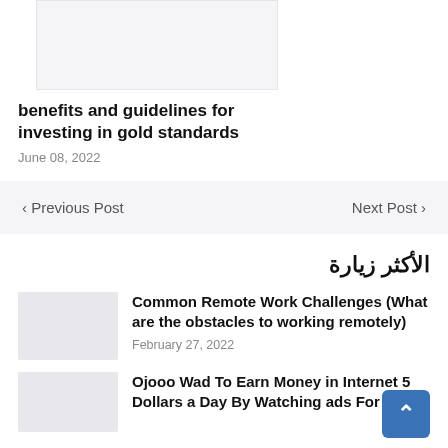[Figure (photo): Thumbnail image placeholder for article about investing in gold standards]
benefits and guidelines for investing in gold standards
June 08, 2022
‹ Previous Post
Next Post ›
الأكثر زيارة
[Figure (photo): Thumbnail for Common Remote Work Challenges article]
Common Remote Work Challenges (What are the obstacles to working remotely)
February 27, 2022
[Figure (photo): Thumbnail for Ojooo Wad article]
Ojooo Wad To Earn Money in Internet 5 Dollars a Day By Watching ads For